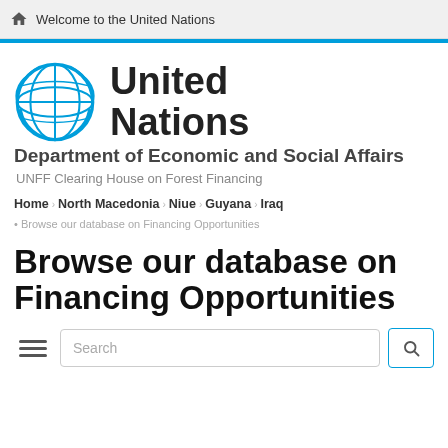Welcome to the United Nations
[Figure (logo): United Nations emblem logo in blue]
United Nations
Department of Economic and Social Affairs
UNFF Clearing House on Forest Financing
Home › North Macedonia › Niue › Guyana › Iraq › Browse our database on Financing Opportunities
Browse our database on Financing Opportunities